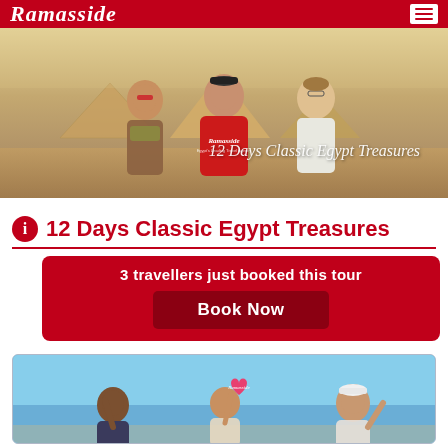Ramasside
[Figure (photo): Hero banner showing three tourists (two women and a man) posing in front of the Egyptian pyramids with desert landscape. A guide in a red Ramasside hoodie is in the center. Text overlay reads '12 Days Classic Egypt Treasures'.]
12 Days Classic Egypt Treasures
3 travellers just booked this tour
Book Now
[Figure (photo): Bottom card showing tourists against a blue sky, one person holding a pink heart-shaped Ramasside sign.]